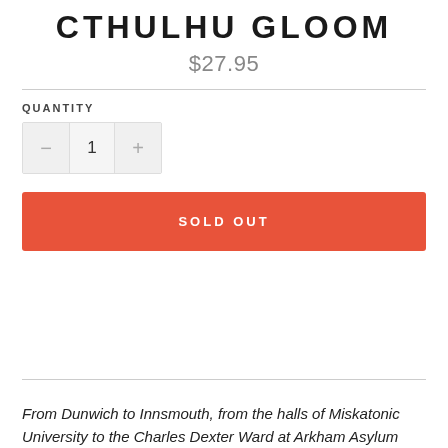CTHULHU GLOOM
$27.95
QUANTITY
SOLD OUT
From Dunwich to Innsmouth, from the halls of Miskatonic University to the Charles Dexter Ward at Arkham Asylum